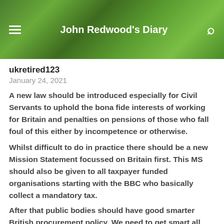John Redwood's Diary
ukretired123
January 24, 2021
A new law should be introduced especially for Civil Servants to uphold the bona fide interests of working for Britain and penalties on pensions of those who fall foul of this either by incompetence or otherwise.
Whilst difficult to do in practice there should be a new Mission Statement focussed on Britain first. This MS should also be given to all taxpayer funded organisations starting with the BBC who basically collect a mandatory tax.
After that public bodies should have good smarter British procurement policy. We need to get smart all round.
These publicly funded bodies can't be fired up they should be fired and replaced by folks who have proven professional